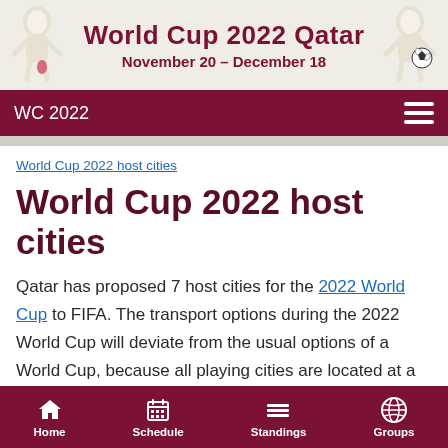[Figure (illustration): World Cup 2022 Qatar header banner with mascot figures on left and right, title 'World Cup 2022 Qatar' and subtitle 'November 20 – December 18']
WC 2022
World Cup 2022 host cities
World Cup 2022 host cities
Qatar has proposed 7 host cities for the 2022 World Cup to FIFA. The transport options during the 2022 World Cup will deviate from the usual options of a World Cup, because all playing cities are located at a relatively small distance from each other.
Home  Schedule  Standings  Groups